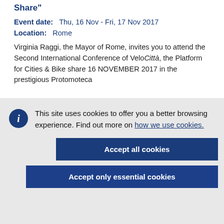Share"
Event date:   Thu, 16 Nov - Fri, 17 Nov 2017
Location:   Rome
Virginia Raggi, the Mayor of Rome, invites you to attend the Second International Conference of VeloCittà, the Platform for Cities & Bike share 16 NOVEMBER 2017 in the prestigious Protomoteca
This site uses cookies to offer you a better browsing experience. Find out more on how we use cookies.
Accept all cookies
Accept only essential cookies